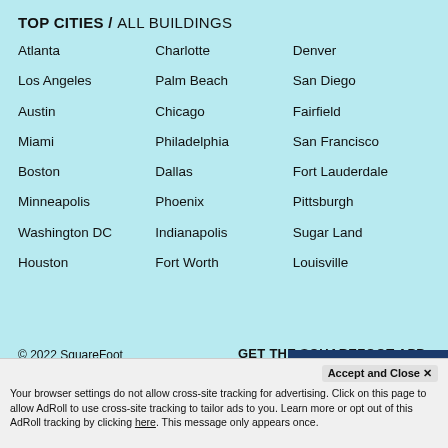TOP CITIES / ALL BUILDINGS
Atlanta
Charlotte
Denver
Los Angeles
Palm Beach
San Diego
Austin
Chicago
Fairfield
Miami
Philadelphia
San Francisco
Boston
Dallas
Fort Lauderdale
Minneapolis
Phoenix
Pittsburgh
Washington DC
Indianapolis
Sugar Land
Houston
Fort Worth
Louisville
© 2022 SquareFoot
All rights reserved
Terms  Privacy
GET THE SQUAREFOOT APP
[Figure (screenshot): Download on the App Store button]
Accept and Close ✕
Your browser settings do not allow cross-site tracking for advertising. Click on this page to allow AdRoll to use cross-site tracking to tailor ads to you. Learn more or opt out of this AdRoll tracking by clicking here. This message only appears once.